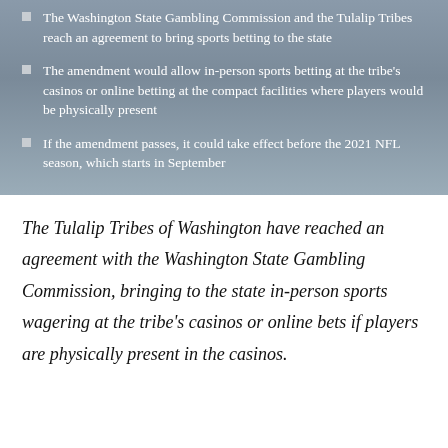The Washington State Gambling Commission and the Tulalip Tribes reach an agreement to bring sports betting to the state
The amendment would allow in-person sports betting at the tribe's casinos or online betting at the compact facilities where players would be physically present
If the amendment passes, it could take effect before the 2021 NFL season, which starts in September
The Tulalip Tribes of Washington have reached an agreement with the Washington State Gambling Commission, bringing to the state in-person sports wagering at the tribe's casinos or online bets if players are physically present in the casinos.